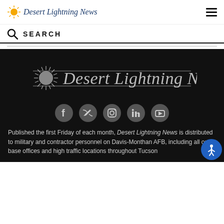Desert Lightning News
SEARCH
[Figure (logo): Desert Lightning News logo with sunburst icon, large white/gray text on dark background]
[Figure (infographic): Social media icons: Facebook, Twitter, Instagram, LinkedIn, YouTube]
Published the first Friday of each month, Desert Lightning News is distributed to military and contractor personnel on Davis-Monthan AFB, including all on-base offices and high traffic locations throughout Tucson